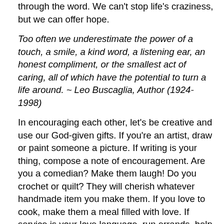through the word. We can't stop life's craziness, but we can offer hope.
Too often we underestimate the power of a touch, a smile, a kind word, a listening ear, an honest compliment, or the smallest act of caring, all of which have the potential to turn a life around. ~ Leo Buscaglia, Author (1924-1998)
In encouraging each other, let's be creative and use our God-given gifts. If you're an artist, draw or paint someone a picture. If writing is your thing, compose a note of encouragement. Are you a comedian? Make them laugh! Do you crochet or quilt? They will cherish whatever handmade item you make them. If you love to cook, make them a meal filled with love. If service is your love language, run errands, help them clean their house or mow their lawn. If you're a good listener (and that is a gift,